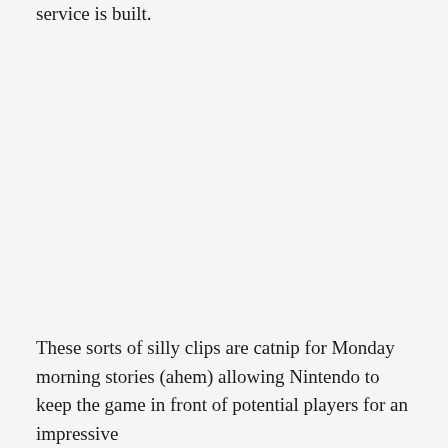service is built.
These sorts of silly clips are catnip for Monday morning stories (ahem) allowing Nintendo to keep the game in front of potential players for an impressive